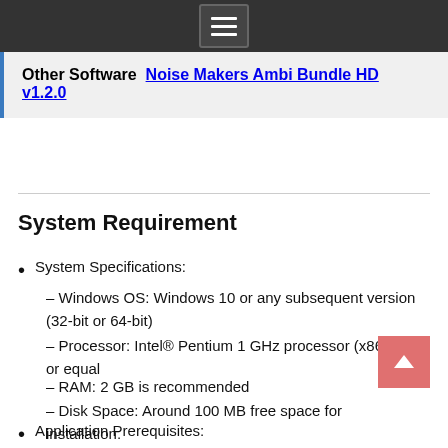Other Software  Noise Makers Ambi Bundle HD v1.2.0
System Requirement
System Specifications:
– Windows OS: Windows 10 or any subsequent version (32-bit or 64-bit)
– Processor: Intel® Pentium 1 GHz processor (x86, x64) or equal
– RAM: 2 GB is recommended
– Disk Space: Around 100 MB free space for installation.
Application Prerequisites:
– Export to Outlook